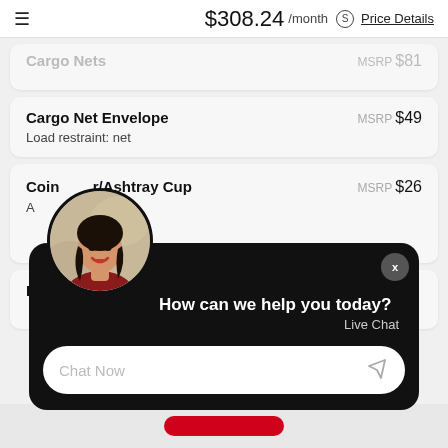$308.24 /month  Price Details
Cargo Nets  MSRP $81
Cargo Net Envelope
Load restraint: net
MSRP $49
Coin Holder/Ashtray Cup  MSRP $26
First
[Figure (screenshot): Live chat overlay popup with woman avatar photo, text 'How can we help you today?' and 'Live Chat', and a 'Chat Now' input field with send icon. Close button top right.]